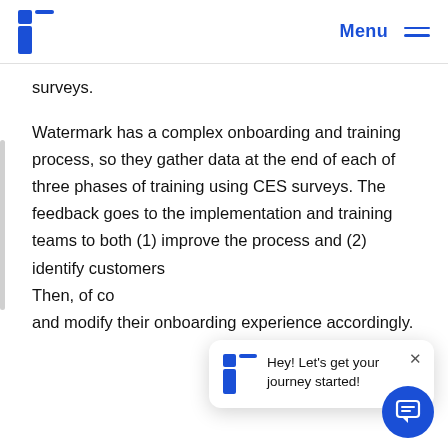Menu
surveys.
Watermark has a complex onboarding and training process, so they gather data at the end of each of three phases of training using CES surveys. The feedback goes to the implementation and training teams to both (1) improve the process and (2) identify customers... Then, of course, and modify their onboarding experience accordingly.